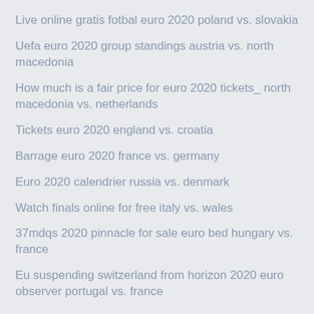Live online gratis fotbal euro 2020 poland vs. slovakia
Uefa euro 2020 group standings austria vs. north macedonia
How much is a fair price for euro 2020 tickets_ north macedonia vs. netherlands
Tickets euro 2020 england vs. croatia
Barrage euro 2020 france vs. germany
Euro 2020 calendrier russia vs. denmark
Watch finals online for free italy vs. wales
37mdqs 2020 pinnacle for sale euro bed hungary vs. france
Eu suspending switzerland from horizon 2020 euro observer portugal vs. france